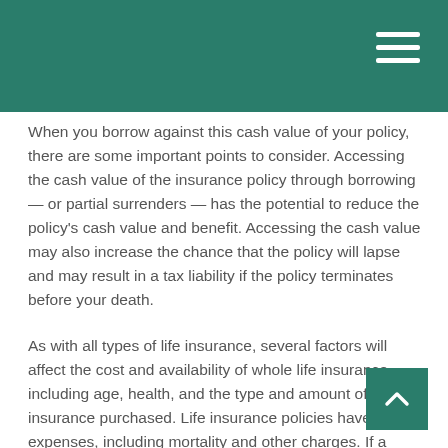When you borrow against this cash value of your policy, there are some important points to consider. Accessing the cash value of the insurance policy through borrowing — or partial surrenders — has the potential to reduce the policy's cash value and benefit. Accessing the cash value may also increase the chance that the policy will lapse and may result in a tax liability if the policy terminates before your death.
As with all types of life insurance, several factors will affect the cost and availability of whole life insurance, including age, health, and the type and amount of insurance purchased. Life insurance policies have expenses, including mortality and other charges. If a policy is surrendered prematurely, the policyholder may also pay surrender charges and have income tax implications. You